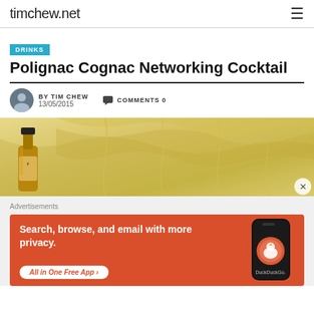timchew.net
DRINKS
Polignac Cognac Networking Cocktail
BY TIM CHEW
13/05/2015
COMMENTS 0
[Figure (photo): A Polignac cognac bottle in front of a golden wavy textured background]
Advertisements
[Figure (infographic): DuckDuckGo advertisement banner with text: Search, browse, and email with more privacy. All in One Free App. Shows a phone with DuckDuckGo logo.]